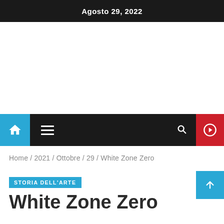Agosto 29, 2022
[Figure (screenshot): White blank advertisement/content area]
Home / 2021 / Ottobre / 29 / White Zone Zero
STORIA DELL'ARTE
White Zone Zero